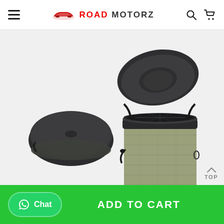ROAD MOTORZ
[Figure (photo): Two views of a collapsible car trash bin/storage container: one shown folded flat (black circular disc shape) on the left, and one shown expanded and open (cylindrical container with black hard top lid open and khaki/tan fabric body) on the right.]
TOP
Chat  ADD TO CART